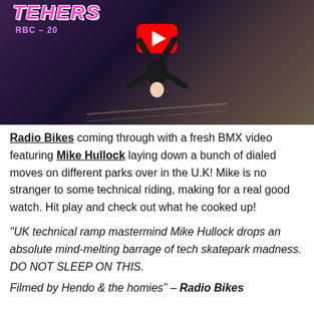[Figure (screenshot): YouTube video thumbnail showing a BMX rider upside down on a ramp at a skatepark. Purple/dark background with 'TEHERS' stylized text in pink/purple and 'RBC-20' subtitle. Red YouTube play button overlay in center top.]
Radio Bikes coming through with a fresh BMX video featuring Mike Hullock laying down a bunch of dialed moves on different parks over in the U.K! Mike is no stranger to some technical riding, making for a real good watch. Hit play and check out what he cooked up!
"UK technical ramp mastermind Mike Hullock drops an absolute mind-melting barrage of tech skatepark madness. DO NOT SLEEP ON THIS.
Filmed by Hendo & the homies" – Radio Bikes